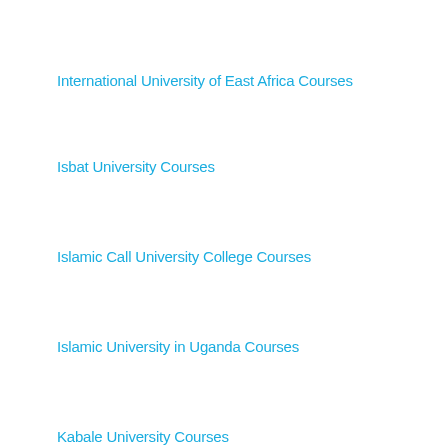International University of East Africa Courses
Isbat University Courses
Islamic Call University College Courses
Islamic University in Uganda Courses
Kabale University Courses
Kampala International University Courses
Kampala University Courses
Kayiwa International University Courses
Kumi University Courses
Lira University Courses
Livingstone International University Courses